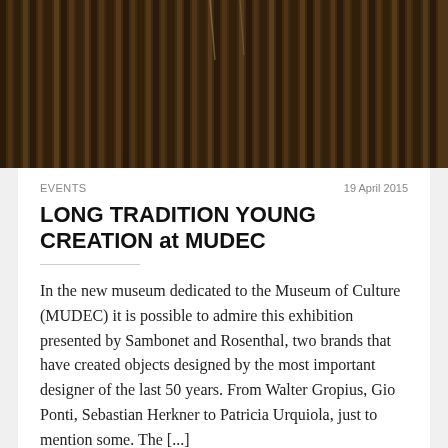[Figure (photo): Dark architectural photo showing vertical striped metallic or wooden panels, likely a ceiling or wall surface, with a dark brownish tone.]
EVENTS	19 April 2015
LONG TRADITION YOUNG CREATION at MUDEC
In the new museum dedicated to the Museum of Culture (MUDEC) it is possible to admire this exhibition presented by Sambonet and Rosenthal, two brands that have created objects designed by the most important designer of the last 50 years. From Walter Gropius, Gio Ponti, Sebastian Herkner to Patricia Urquiola, just to mention some. The [...]